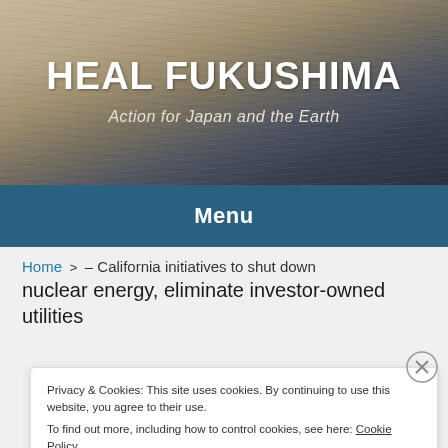HEAL FUKUSHIMA
Action for Japan and the Earth
Menu
Home > – California initiatives to shut down nuclear energy, eliminate investor-owned utilities
Privacy & Cookies: This site uses cookies. By continuing to use this website, you agree to their use.
To find out more, including how to control cookies, see here: Cookie Policy
Close and accept